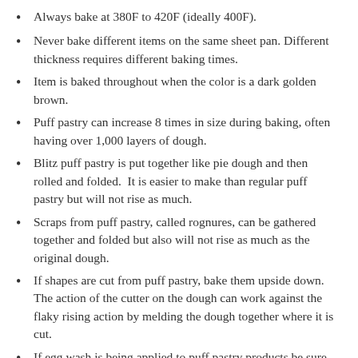Always bake at 380F to 420F (ideally 400F).
Never bake different items on the same sheet pan. Different thickness requires different baking times.
Item is baked throughout when the color is a dark golden brown.
Puff pastry can increase 8 times in size during baking, often having over 1,000 layers of dough.
Blitz puff pastry is put together like pie dough and then rolled and folded.  It is easier to make than regular puff pastry but will not rise as much.
Scraps from puff pastry, called rognures, can be gathered together and folded but also will not rise as much as the original dough.
If shapes are cut from puff pastry, bake them upside down.  The action of the cutter on the dough can work against the flaky rising action by melding the dough together where it is cut.
If egg wash is being applied to puff pastry products be sure it does not dribble down the sides because